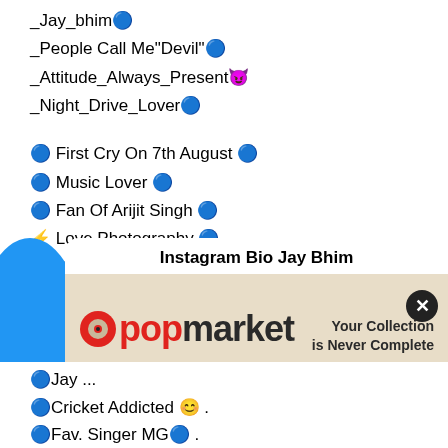_Jay_bhim🔵
_People Call Me"Devil"🔵
_Attitude_Always_Present😈
_Night_Drive_Lover🔵
🔵 First Cry On 7th August 🔵
🔵 Music Lover 🔵
🔵 Fan Of Arijit Singh 🔵
⚡ Love Photography 🔵
🔵 Dream World Tour 🔵
🔵Jay Bhim 🔵
[Figure (screenshot): Advertisement banner for popmarket with title 'Instagram Bio Jay Bhim', close button, and popmarket logo with tagline 'Your Collection is Never Complete']
🔵Jay ...
🔵Cricket Addicted 😊 .
🔵Fav. Singer MG🔵 .